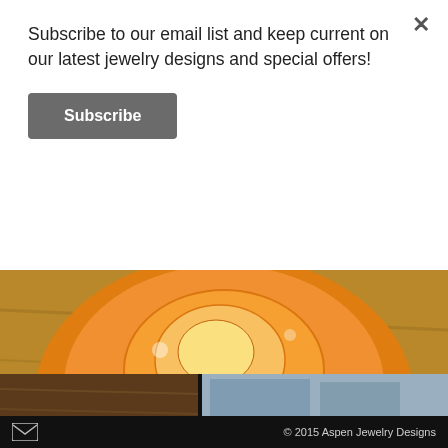Subscribe to our email list and keep current on our latest jewelry designs and special offers!
Subscribe
[Figure (photo): Close-up photo of a sterling silver ring with scale/diamond pattern placed on an orange conch seashell on a wooden surface]
Sterling silver, diamond and fresh water pearl ring. $200.00
Purchase Info
[Figure (photo): Partial view of a second product photo strip showing wood-toned objects on a light background]
© 2015 Aspen Jewelry Designs